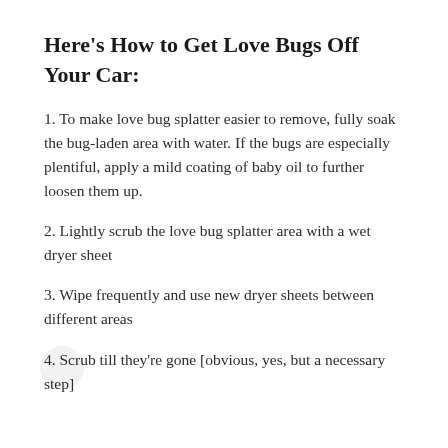Here's How to Get Love Bugs Off Your Car:
1. To make love bug splatter easier to remove, fully soak the bug-laden area with water. If the bugs are especially plentiful, apply a mild coating of baby oil to further loosen them up.
2. Lightly scrub the love bug splatter area with a wet dryer sheet
3. Wipe frequently and use new dryer sheets between different areas
4. Scrub till they're gone [obvious, yes, but a necessary step]